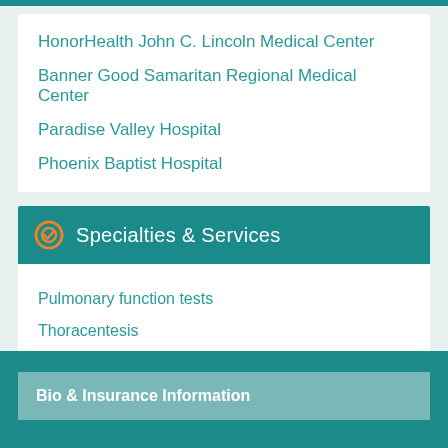HonorHealth John C. Lincoln Medical Center
Banner Good Samaritan Regional Medical Center
Paradise Valley Hospital
Phoenix Baptist Hospital
Specialties & Services
Pulmonary function tests
Thoracentesis
Bio & Insurance Information